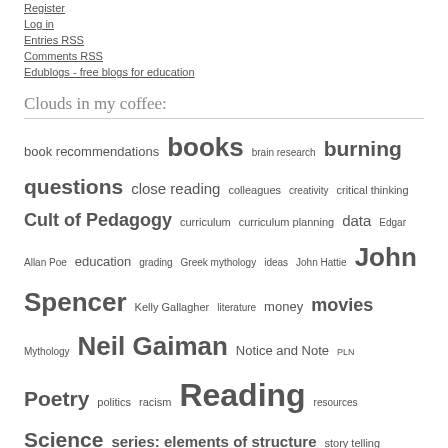Register
Log in
Entries RSS
Comments RSS
Edublogs - free blogs for education
Clouds in my coffee:
book recommendations books brain research burning questions close reading colleagues creativity critical thinking Cult of Pedagogy curriculum curriculum planning data Edgar Allan Poe education grading Greek mythology ideas John Hattie John Spencer Kelly Gallagher literature money movies Mythology Neil Gaiman Notice and Note PLN Poetry politics racism Reading resources Science series: elements of structure story telling teaching